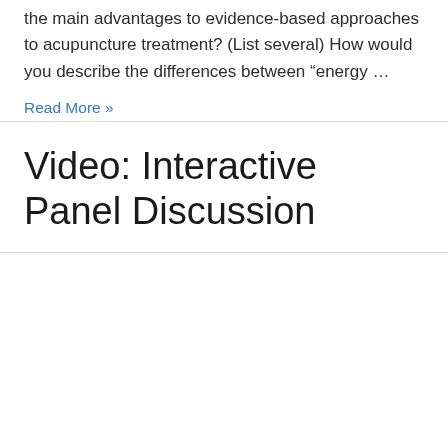the main advantages to evidence-based approaches to acupuncture treatment? (List several) How would you describe the differences between “energy …
Read More »
Video: Interactive Panel Discussion